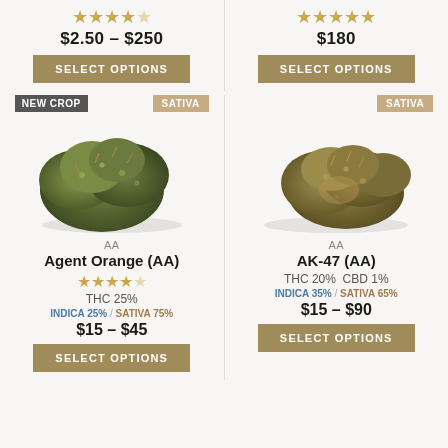[Figure (other): Star rating (4.5 stars) for left product at top]
$2.50 – $250
SELECT OPTIONS
[Figure (other): Star rating (5 stars) for right product at top]
$180
SELECT OPTIONS
[Figure (photo): Cannabis bud photograph for Agent Orange (AA) with NEW CROP badge and SATIVA label]
[Figure (photo): Cannabis bud photograph for AK-47 (AA) with SATIVA label]
AA
Agent Orange (AA)
[Figure (other): Star rating (4 stars) for Agent Orange]
THC 25%
INDICA 25% / SATIVA 75%
$15 – $45
SELECT OPTIONS
AA
AK-47 (AA)
THC 20%  CBD 1%
INDICA 35% / SATIVA 65%
$15 – $90
SELECT OPTIONS